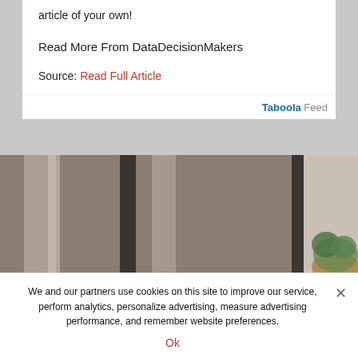article of your own!
Read More From DataDecisionMakers
Source: Read Full Article
[Figure (other): Taboola Feed logo/label aligned to the right]
[Figure (photo): Photo of curtains/drapes in a room with a plant visible on the right side]
We and our partners use cookies on this site to improve our service, perform analytics, personalize advertising, measure advertising performance, and remember website preferences.
Ok